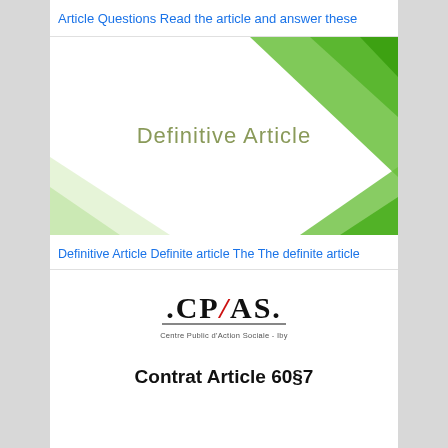Article Questions Read the article and answer these
[Figure (illustration): Slide image with green geometric design and text 'Definitive Article' in olive/tan color on white background with green angular shapes in corners]
Definitive Article Definite article The The definite article
[Figure (logo): CPAS logo with red diagonal slash through letter A, with text 'Centre Public d'Action Sociale - Iby' below]
Contrat Article 60§7